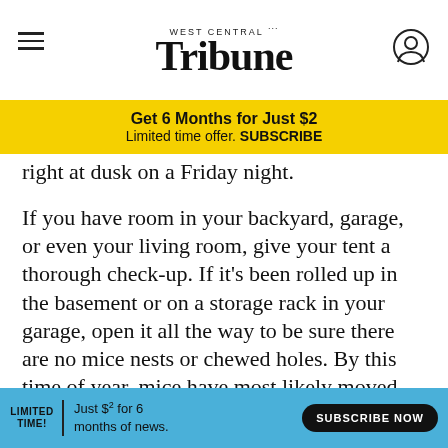West Central Tribune
[Figure (other): Yellow subscription ad banner: Get 6 Months for Just $2. Limited time offer. SUBSCRIBE]
right at dusk on a Friday night.
If you have room in your backyard, garage, or even your living room, give your tent a thorough check-up. If it’s been rolled up in the basement or on a storage rack in your garage, open it all the way to be sure there are no mice nests or chewed holes. By this time of year, mice have most likely moved back outdoors, but they love winter camping in our gear. The best way to inspect a tent is to pitch it and then go over it thoroughly.
Do a b… floor of the tent and then finish it by using the small
[Figure (other): Blue bottom ad banner: LIMITED TIME! Just $2 for 6 months of news. SUBSCRIBE NOW]